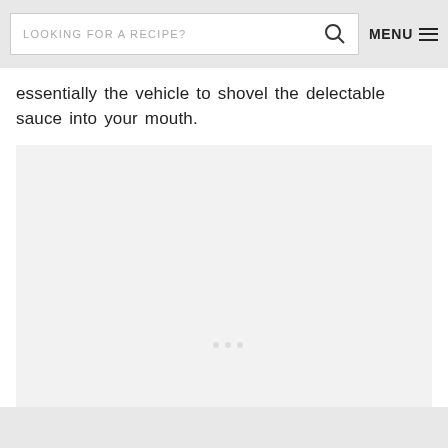LOOKING FOR A RECIPE? MENU
essentially the vehicle to shovel the delectable sauce into your mouth.
[Figure (photo): A light gray rectangular image placeholder area, appears to show a photo of food (mostly blank/loading), with faint dots visible near center-bottom of the image area.]